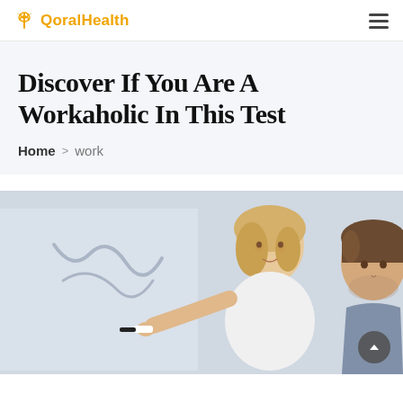QoralHealth
Discover If You Are A Workaholic In This Test
Home > work
[Figure (photo): Two colleagues — a blonde woman writing on a glass board with a marker and a man watching from behind — in an office setting.]